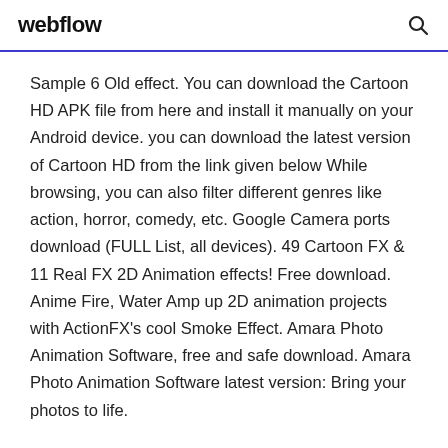webflow
Sample 6 Old effect. You can download the Cartoon HD APK file from here and install it manually on your Android device. you can download the latest version of Cartoon HD from the link given below While browsing, you can also filter different genres like action, horror, comedy, etc. Google Camera ports download (FULL List, all devices). 49 Cartoon FX & 11 Real FX 2D Animation effects! Free download. Anime Fire, Water Amp up 2D animation projects with ActionFX's cool Smoke Effect. Amara Photo Animation Software, free and safe download. Amara Photo Animation Software latest version: Bring your photos to life.